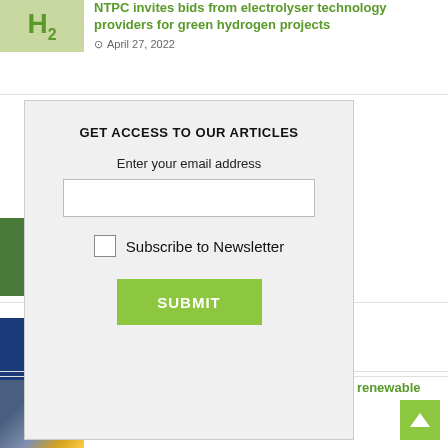[Figure (photo): H2 green hydrogen logo image thumbnail]
NTPC invites bids from electrolyser technology providers for green hydrogen projects
April 27, 2022
GET ACCESS TO OUR ARTICLES
Enter your email address
[Subscribe to Newsletter checkbox]
SUBMIT
India can manufacturer
[Figure (photo): Renewable energy related thumbnail image]
Saint-Gobain, IIT-M sign MoU to develop a renewable energy based research park
February 14, 2022